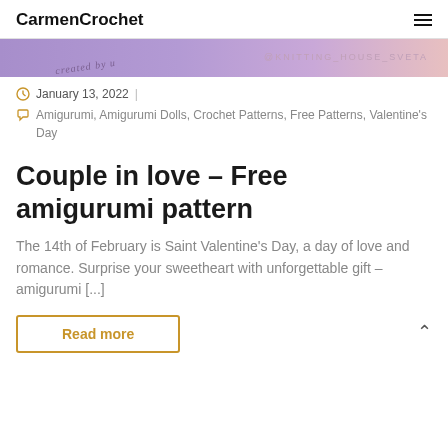CarmenCrochet
[Figure (illustration): Purple/lavender banner image with text 'created by...' in italic script and '@KNITTING_HOUSE_SVETA' on the right side]
January 13, 2022
Amigurumi, Amigurumi Dolls, Crochet Patterns, Free Patterns, Valentine's Day
Couple in love – Free amigurumi pattern
The 14th of February is Saint Valentine's Day, a day of love and romance. Surprise your sweetheart with unforgettable gift – amigurumi [...]
Read more